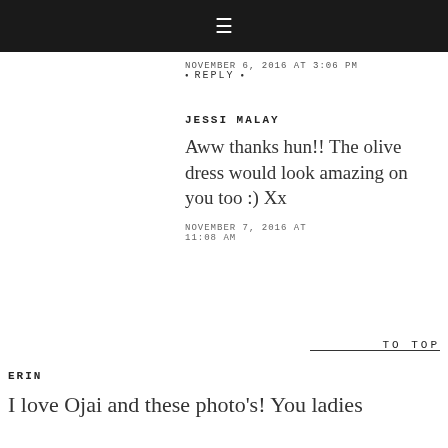≡ (navigation bar)
NOVEMBER 6, 2016 AT 3:06 PM
• REPLY •
JESSI MALAY
Aww thanks hun!! The olive dress would look amazing on you too :) Xx
NOVEMBER 7, 2016 AT 11:08 AM
• REPLY •
TO TOP
ERIN
I love Ojai and these photo's! You ladies